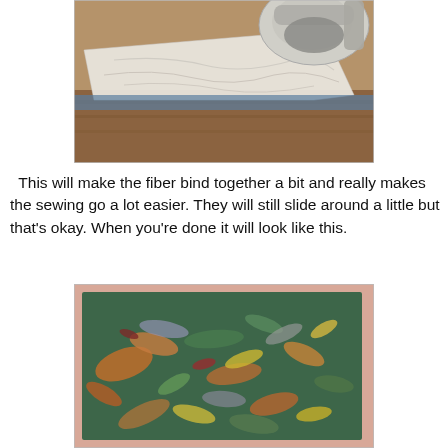[Figure (photo): Photo of white fabric/tissue paper being ironed on a wooden surface, with an iron visible in the upper right corner]
This will make the fiber bind together a bit and really makes the sewing go a lot easier. They will still slide around a little but that's okay. When you're done it will look like this.
[Figure (photo): Photo of colorful fiber/fabric pieces arranged on a dark green backing, showing various colors including orange, yellow, green, brown and gray fibers spread across the surface]